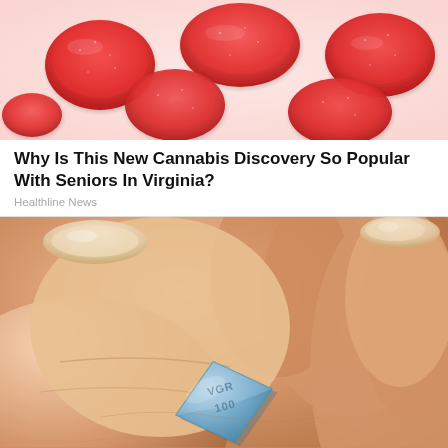[Figure (photo): Red gummy candy pieces on a white/pink background]
Why Is This New Cannabis Discovery So Popular With Seniors In Virginia?
Healthline News
[Figure (photo): Close-up of fingers holding a blue diamond-shaped pill with text VGR 100 embossed on it]
Doctors Stunned: Forget the Blue Pill, This Fixes Your ED